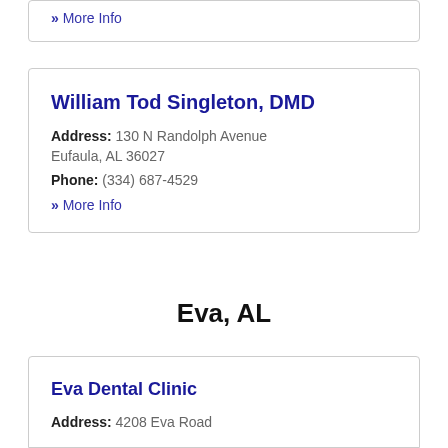» More Info
William Tod Singleton, DMD
Address: 130 N Randolph Avenue Eufaula, AL 36027
Phone: (334) 687-4529
» More Info
Eva, AL
Eva Dental Clinic
Address: 4208 Eva Road